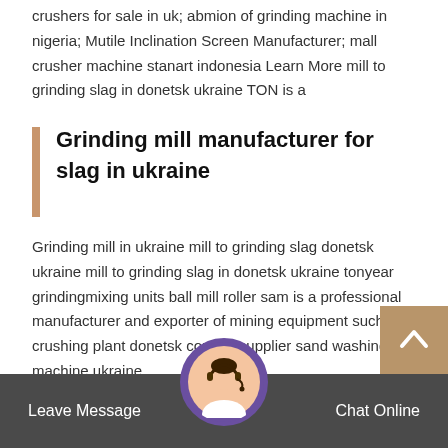crushers for sale in uk; abmion of grinding machine in nigeria; Mutile Inclination Screen Manufacturer; mall crusher machine stanart indonesia Learn More mill to grinding slag in donetsk ukraine TON is a
Grinding mill manufacturer for slag in ukraine
Grinding mill in ukraine mill to grinding slag donetsk ukraine mill to grinding slag in donetsk ukraine tonyear grindingmixing units ball mill roller sam is a professional manufacturer and exporter of mining equipment such as crushing plant donetsk contact supplier sand washing machine ukraine
mill to grinding slag donetsk ukraine in uganda. Quality management system of OJSC Donetsk metallurgical plant
Leave Message    Chat Online